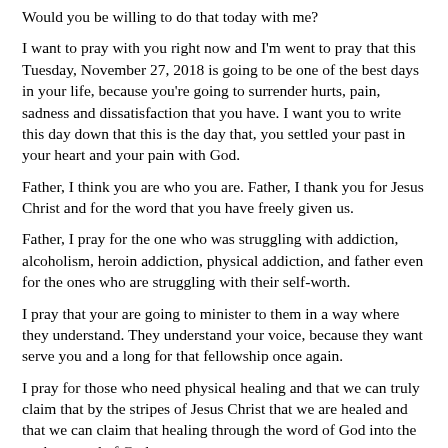Would you be willing to do that today with me?
I want to pray with you right now and I'm went to pray that this Tuesday, November 27, 2018 is going to be one of the best days in your life, because you're going to surrender hurts, pain, sadness and dissatisfaction that you have. I want you to write this day down that this is the day that, you settled your past in your heart and your pain with God.
Father, I think you are who you are. Father, I thank you for Jesus Christ and for the word that you have freely given us.
Father, I pray for the one who was struggling with addiction, alcoholism, heroin addiction, physical addiction, and father even for the ones who are struggling with their self-worth.
I pray that your are going to minister to them in a way where they understand. They understand your voice, because they want serve you and a long for that fellowship once again.
I pray for those who need physical healing and that we can truly claim that by the stripes of Jesus Christ that we are healed and that we can claim that healing through the word of God into the spoken word of God.
I thank you that your word is medicine to all of our flesh and that